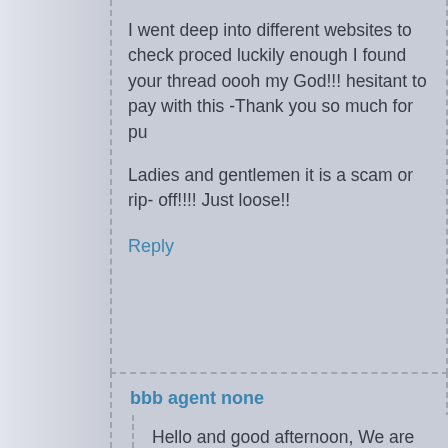I went deep into different websites to check proced luckily enough I found your thread oooh my God!!! hesitant to pay with this -Thank you so much for pu
Ladies and gentlemen it is a scam or rip- off!!!! Just loose!!
Reply
bbb agent none
Hello and good afternoon, We are investigating this been lured into this scam, contact your lawyer and stand down, the FBI Internet Piracy agency is inves have found that they are head in New York. Even